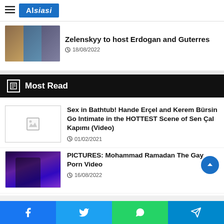Alsiasi
Zelenskyy to host Erdogan and Guterres
18/08/2022
Most Read
Sex in Bathtub! Hande Erçel and Kerem Bürsin Go Intimate in the HOTTEST Scene of Sen Çal Kapımı (Video)
01/02/2021
PICTURES: Mohammad Ramadan The Gay Porn Video
16/08/2022